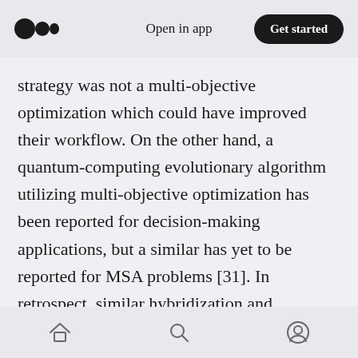Open in app | Get started
strategy was not a multi-objective optimization which could have improved their workflow. On the other hand, a quantum-computing evolutionary algorithm utilizing multi-objective optimization has been reported for decision-making applications, but a similar has yet to be reported for MSA problems [31]. In retrospect, similar hybridization and parallelization approaches will continue to emerge as the complexity/size of biological datasets increases and the technological tools increase in efficiency, accessibility, and higher throughput.
Home | Search | Profile